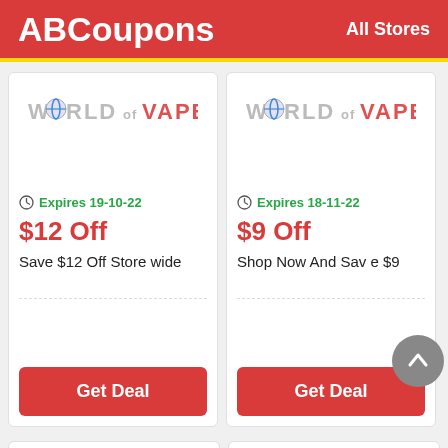ABCoupons  All Stores
[Figure (logo): World of Vape store logo (left coupon card)]
Expires 19-10-22
$12 Off
Save $12 Off Store wide
Get Deal
[Figure (logo): World of Vape store logo (right coupon card)]
Expires 18-11-22
$9 Off
Shop Now And Save $9
Get Deal